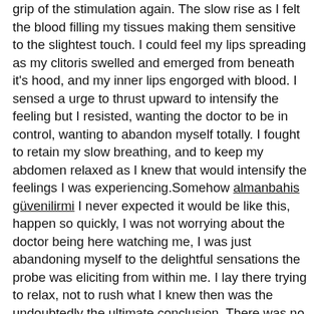grip of the stimulation again. The slow rise as I felt the blood filling my tissues making them sensitive to the slightest touch. I could feel my lips spreading as my clitoris swelled and emerged from beneath it's hood, and my inner lips engorged with blood. I sensed a urge to thrust upward to intensify the feeling but I resisted, wanting the doctor to be in control, wanting to abandon myself totally. I fought to retain my slow breathing, and to keep my abdomen relaxed as I knew that would intensify the feelings I was experiencing.Somehow almanbahis güvenilirmi I never expected it would be like this, happen so quickly, I was not worrying about the doctor being here watching me, I was just abandoning myself to the delightful sensations the probe was eliciting from within me. I lay there trying to relax, not to rush what I knew then was the undoubtedly the ultimate conclusion. There was no doubt in my mind as to whether I would be able to achieve orgasm through this method, with each stimulation the doctor administered I was moving farther along the blessed climb to the peak when I would slip over the edge. I could feel the intensity